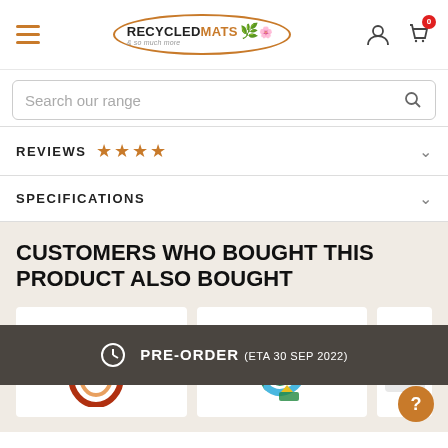[Figure (screenshot): Website header with hamburger menu icon, RecycledMats logo in orange oval, user account icon, and shopping cart icon with red badge showing 0]
[Figure (screenshot): Search bar with placeholder text 'Search our range' and search icon]
REVIEWS ★★★★½
SPECIFICATIONS
CUSTOMERS WHO BOUGHT THIS PRODUCT ALSO BOUGHT
[Figure (screenshot): Three product card thumbnails partially visible below the pre-order banner, showing recycled mat products]
PRE-ORDER (ETA 30 SEP 2022)